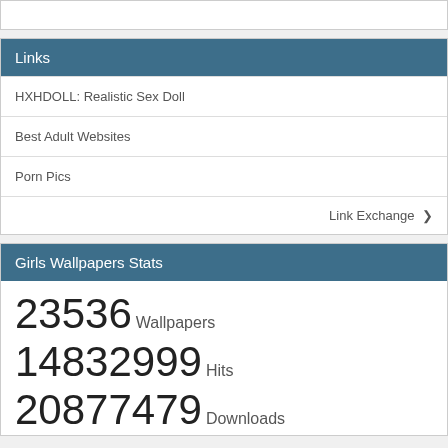Links
HXHDOLL: Realistic Sex Doll
Best Adult Websites
Porn Pics
Link Exchange ❯
Girls Wallpapers Stats
23536 Wallpapers
14832999 Hits
20877479 Downloads